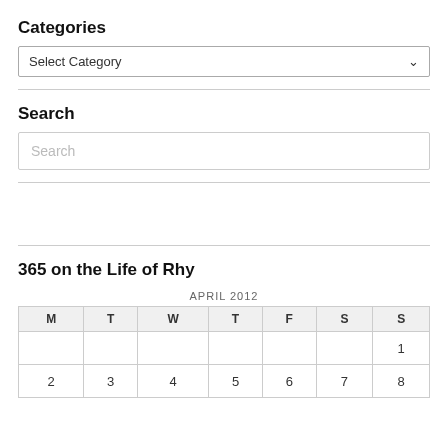Categories
Select Category
Search
Search
365 on the Life of Rhy
| M | T | W | T | F | S | S |
| --- | --- | --- | --- | --- | --- | --- |
|  |  |  |  |  |  | 1 |
| 2 | 3 | 4 | 5 | 6 | 7 | 8 |